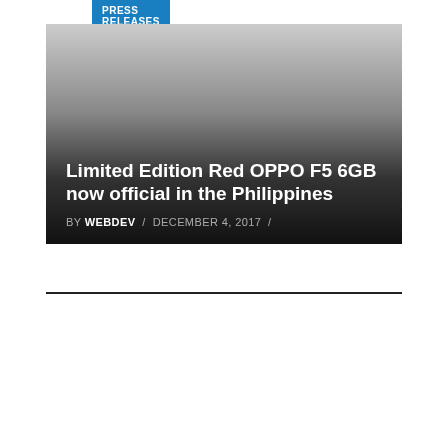PRESS RELEASES
[Figure (photo): Hero image block with gradient overlay transitioning from light gray at top to black at bottom, containing article title and metadata]
Limited Edition Red OPPO F5 6GB now official in the Philippines
BY WEBDEV / DECEMBER 4, 2017 /